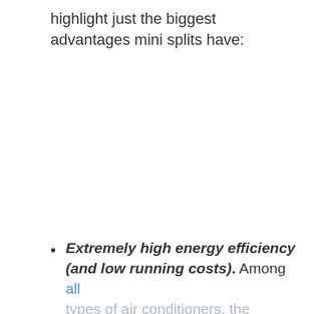highlight just the biggest advantages mini splits have:
Extremely high energy efficiency (and low running costs). Among all types of air conditioners, the ductless mini split units are the most energy efficient. They are...